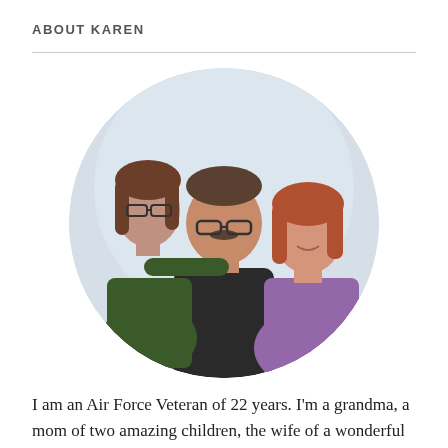ABOUT KAREN
[Figure (photo): Circular cropped family portrait showing three people: a younger woman with brown hair and glasses leaning from behind, a middle-aged man with glasses in the center, and a woman with red hair wearing a purple shirt on the right.]
I am an Air Force Veteran of 22 years. I'm a grandma, a mom of two amazing children, the wife of a wonderful